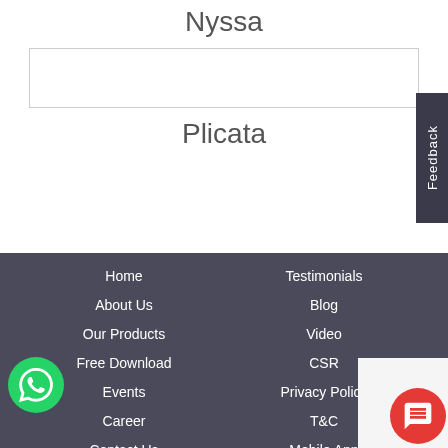Nyssa
[Figure (other): Search input box, empty, with border]
Plicata
Home | About Us | Our Products | Free Download | Events | Career | Contact Us | Testimonials | Blog | Video | CSR | Privacy Policy | T&C | Mobile App
[Figure (other): Feedback tab on right side]
[Figure (other): WhatsApp button, green circle with phone icon]
[Figure (other): Chat button, red circle with chat icon]